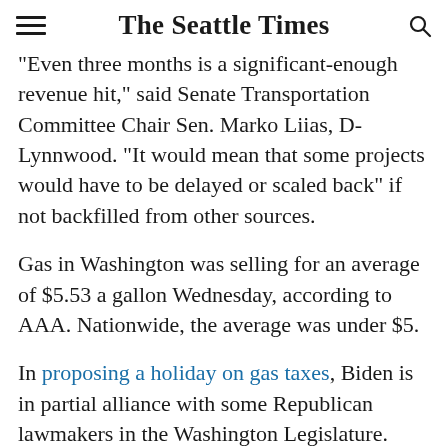The Seattle Times
“Even three months is a significant-enough revenue hit,” said Senate Transportation Committee Chair Sen. Marko Liias, D-Lynnwood. “It would mean that some projects would have to be delayed or scaled back” if not backfilled from other sources.
Gas in Washington was selling for an average of $5.53 a gallon Wednesday, according to AAA. Nationwide, the average was under $5.
In proposing a holiday on gas taxes, Biden is in partial alliance with some Republican lawmakers in the Washington Legislature. Sen. Simon Sefzik, R-Ferndale, offered Senate Bill 5897 during this year’s legislative session, which would have suspended the state’s gas tax until the end of the year and backfilled dollars from the state’s lottery the…